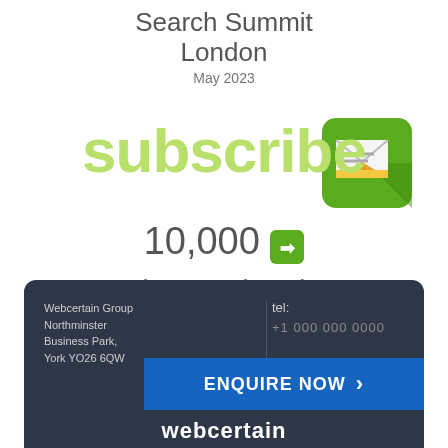Search Summit London
May 2023
[Figure (illustration): Green rounded square icon with an envelope/email graphic showing a letter and arrows, representing newsletter subscription]
subscribe
10,000 ➡ international marketers can't be wrong
Webcertain Group Northminster Business Park, York YO26 6QW
tel:
ENQUIRE NOW >
webcertain